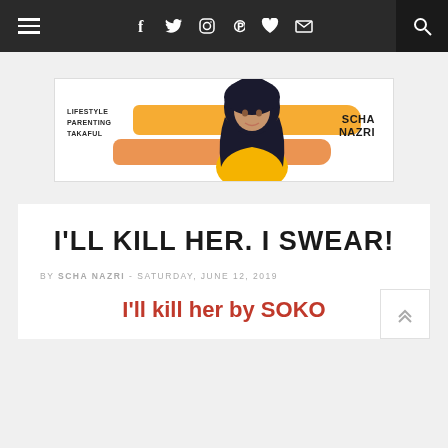Navigation bar with hamburger menu, social icons (Facebook, Twitter, Instagram, Pinterest, heart, email), and search icon
[Figure (illustration): Blog banner for 'Scha Nazri' blog showing lifestyle, parenting, takaful topics with orange brush strokes and a photo of a woman in hijab]
I'LL KILL HER. I SWEAR!
BY SCHA NAZRI - SATURDAY, JUNE 12, 2019
I'll kill her by SOKO